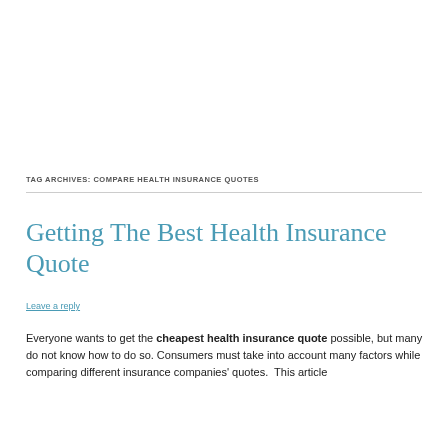TAG ARCHIVES: COMPARE HEALTH INSURANCE QUOTES
Getting The Best Health Insurance Quote
Leave a reply
Everyone wants to get the cheapest health insurance quote possible, but many do not know how to do so. Consumers must take into account many factors while comparing different insurance companies' quotes.  This article